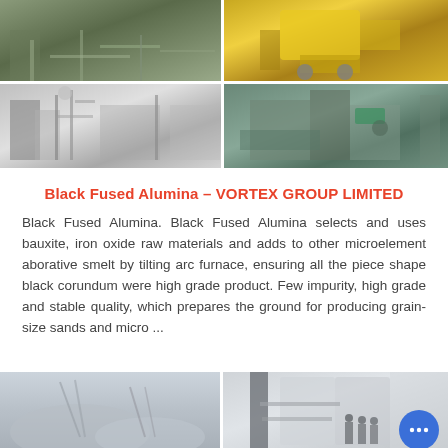[Figure (photo): Grid of four industrial/mining site photos: top-left shows industrial equipment and conveyor structures in a misty setting, top-right shows yellow heavy machinery/loader at a construction site, bottom-left shows black-and-white photo of workers on scaffolding with dust, bottom-right shows aerial view of construction site with concrete structures and green truck.]
Black Fused Alumina – VORTEX GROUP LIMITED
Black Fused Alumina. Black Fused Alumina selects and uses bauxite, iron oxide raw materials and adds to other microelement aborative smelt by tilting arc furnace, ensuring all the piece shape black corundum were high grade product. Few impurity, high grade and stable quality, which prepares the ground for producing grain-size sands and micro ...
[Figure (photo): Two industrial photos side by side: left shows a misty/foggy view of industrial piles or stockpiles with crane structures, right shows industrial processing equipment/silo with workers standing nearby. A blue chat bubble icon overlaid in bottom right corner.]